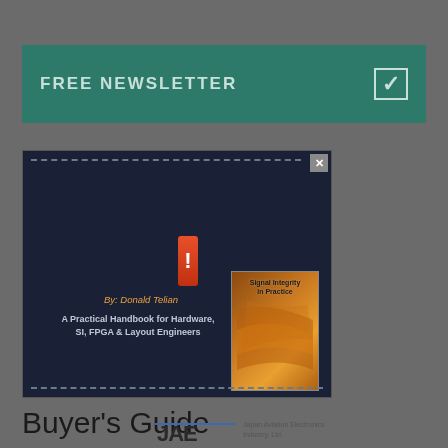FREE NEWSLETTER
[Figure (screenshot): Advertisement for book 'Signal Integrity in Practice' by Donald Telian - A Practical Handbook for Hardware, SI, FPGA & Layout Engineers. Dark blue background with book cover image showing orange gradient design.]
Buyer's Guide
[Figure (logo): JAE - Japan Aviation Electronics Industry, Ltd. logo]